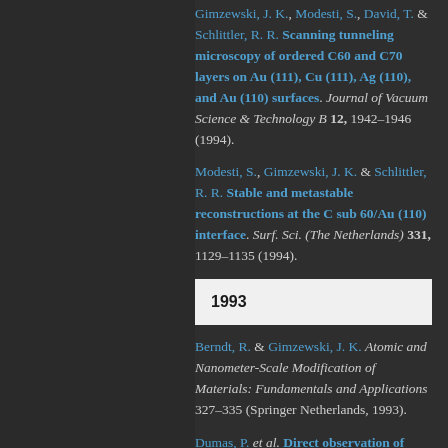Gimzewski, J. K., Modesti, S., David, T. & Schlittler, R. R. Scanning tunneling microscopy of ordered C60 and C70 layers on Au (111), Cu (111), Ag (110), and Au (110) surfaces. Journal of Vacuum Science & Technology B 12, 1942–1946 (1994).
Modesti, S., Gimzewski, J. K. & Schlittler, R. R. Stable and metastable reconstructions at the C sub 60/Au (110) interface. Surf. Sci. (The Netherlands) 331, 1129–1135 (1994).
1993
Berndt, R. & Gimzewski, J. K. Atomic and Nanometer-Scale Modification of Materials: Fundamentals and Applications 327–335 (Springer Netherlands, 1993).
Dumas, P. et al. Direct observation of individual nanometer-sized light-emitting structures on porous silicon surfaces. EPL...